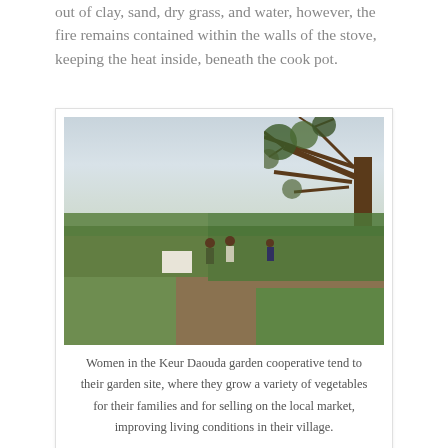out of clay, sand, dry grass, and water, however, the fire remains contained within the walls of the stove, keeping the heat inside, beneath the cook pot.
[Figure (photo): Women in the Keur Daouda garden cooperative tending their garden site, with green vegetable plots, trees overhead, and a hazy sky in the background.]
Women in the Keur Daouda garden cooperative tend to their garden site, where they grow a variety of vegetables for their families and for selling on the local market, improving living conditions in their village.